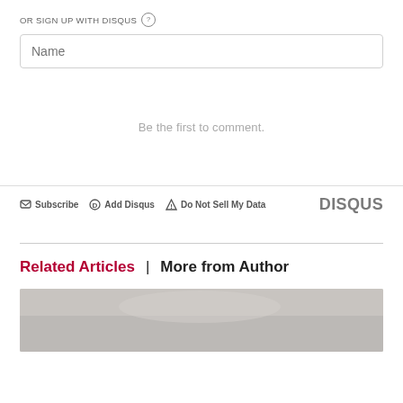OR SIGN UP WITH DISQUS ?
Name
Be the first to comment.
Subscribe  Add Disqus  Do Not Sell My Data  DISQUS
Related Articles  |  More from Author
[Figure (photo): Partially visible article thumbnail image, gray tones]